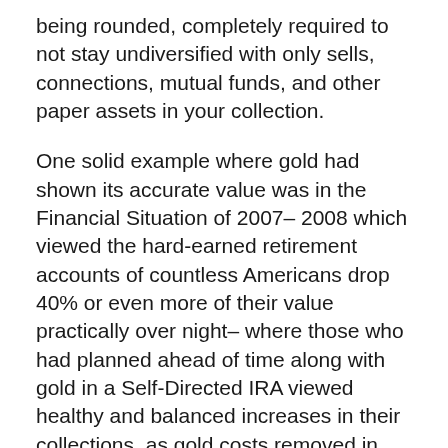being rounded, completely required to not stay undiversified with only sells, connections, mutual funds, and other paper assets in your collection.
One solid example where gold had shown its accurate value was in the Financial Situation of 2007– 2008 which viewed the hard-earned retirement accounts of countless Americans drop 40% or even more of their value practically over night– where those who had planned ahead of time along with gold in a Self-Directed IRA viewed healthy and balanced increases in their collections, as gold costs removed in action which assisted shield their accounts from dreadful losses.
Goldco's free of cost mind-blowing Gold